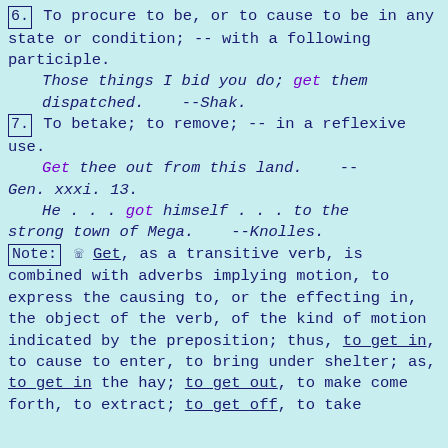6. To procure to be, or to cause to be in any state or condition; -- with a following participle.
Those things I bid you do; get them dispatched. --Shak.
7. To betake; to remove; -- in a reflexive use.
Get thee out from this land. -- Gen. xxxi. 13.
He . . . got himself . . . to the strong town of Mega. --Knolles.
Note: ☞ Get, as a transitive verb, is combined with adverbs implying motion, to express the causing to, or the effecting in, the object of the verb, of the kind of motion indicated by the preposition; thus, to get in, to cause to enter, to bring under shelter; as, to get in the hay; to get out, to make come forth, to extract; to get off, to take